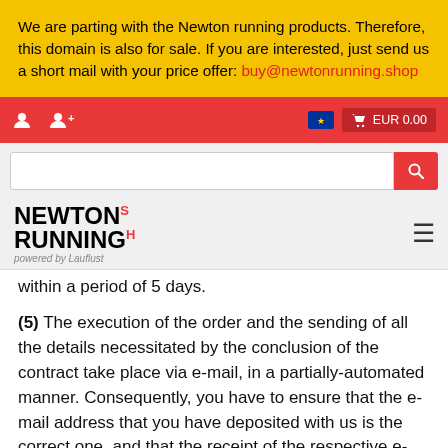We are parting with the Newton running products. Therefore, this domain is also for sale. If you are interested, just send us a short mail with your price offer: buy@newtonrunning.shop
[Figure (screenshot): Red navigation bar with user icons on left and EUR 0.00 cart button on right, with EU flag icon]
[Figure (screenshot): Search bar with white input field and red search button]
[Figure (logo): Newton Running Shop logo with 'powered by Lauflust' tagline and hamburger menu]
within a period of 5 days.
(5) The execution of the order and the sending of all the details necessitated by the conclusion of the contract take place via e-mail, in a partially-automated manner. Consequently, you have to ensure that the e-mail address that you have deposited with us is the correct one, and that the receipt of the respective e-mails is guaranteed. In particular, you have to ensure that the respective e-mails are not blocked by a SPAM filter.
3.3 Right of...